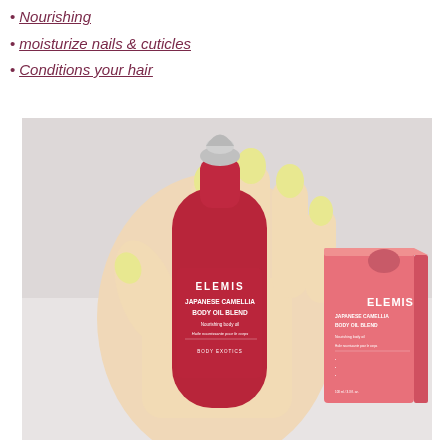Nourishing
moisturize nails & cuticles
Conditions your hair
[Figure (photo): A hand with yellow painted nails holding a red ELEMIS Japanese Camellia Body Oil Blend bottle with a silver bullet-shaped cap, next to the pink product box on a light grey surface.]